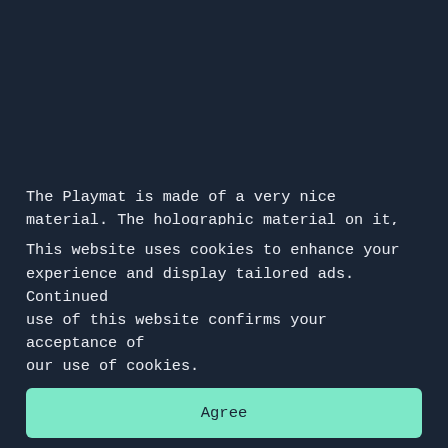The Playmat is made of a very nice material. The holographic material on it, is made of a rubber-like material. It won't scratch very easily unless you rub it against a dirty surface. It's very cool they could embed this holo effect in all products and certainly contributes to the premium feeling. It also comes with a playmat storage case which is made of the same materials as the deckbox and the damage counter case. It's faux leather and I am also very curious how long the fold will hold out before it will
This website uses cookies to enhance your experience and display tailored ads. Continued use of this website confirms your acceptance of our use of cookies.
al Japanese / thin compared officially (please